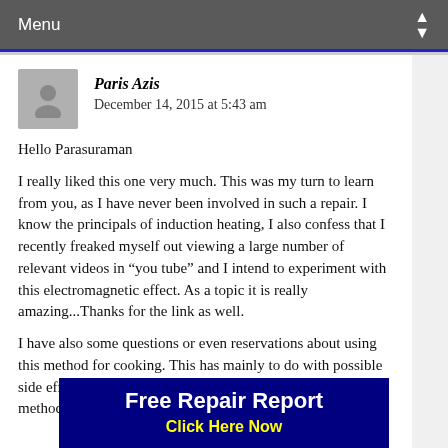Menu
Paris Azis
December 14, 2015 at 5:43 am
Hello Parasuraman
I really liked this one very much. This was my turn to learn from you, as I have never been involved in such a repair. I know the principals of induction heating, I also confess that I recently freaked myself out viewing a large number of relevant videos in “you tube” and I intend to experiment with this electromagnetic effect. As a topic it is really amazing...Thanks for the link as well.
I have also some questions or even reservations about using this method for cooking. This has mainly to do with possible side effects against personal health using this (or similar) method...For example low fre... already well kno...
[Figure (infographic): Advertisement banner: 'Free Repair Report / Click Here Now' in white and yellow text on dark navy blue background]